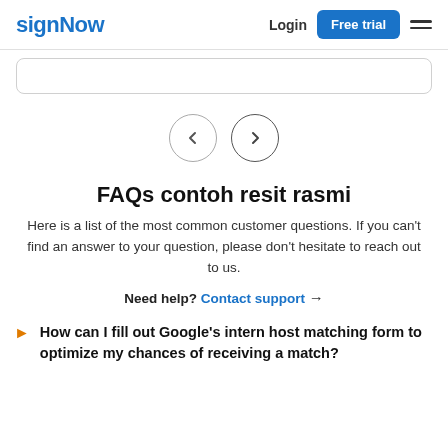signNow | Login | Free trial
[Figure (screenshot): Carousel card partial view with rounded border]
[Figure (other): Navigation arrows: left chevron circle and right chevron circle]
FAQs contoh resit rasmi
Here is a list of the most common customer questions. If you can't find an answer to your question, please don't hesitate to reach out to us.
Need help? Contact support →
How can I fill out Google's intern host matching form to optimize my chances of receiving a match?